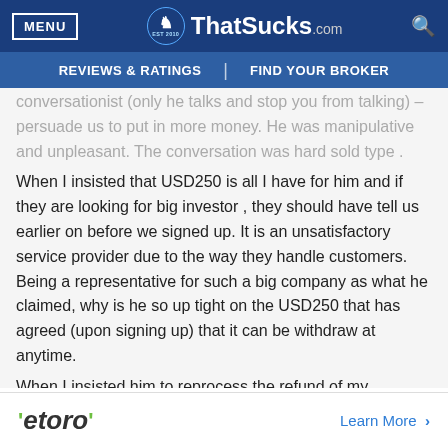MENU | ThatSucks.com | REVIEWS & RATINGS | FIND YOUR BROKER
conversationist (only he talks and stop you from talking) – persuade us to put in more money. He was manipulative and unpleasant. The conversation was hard sold type .
When I insisted that USD250 is all I have for him and if they are looking for big investor , they should have tell us earlier on before we signed up. It is an unsatisfactory service provider due to the way they handle customers. Being a representative for such a big company as what he claimed, why is he so up tight on the USD250 that has agreed (upon signing up) that it can be withdraw at anytime.
When I insisted him to reprocess the refund of my
[Figure (logo): eToro logo with green tick marks and Learn More link]